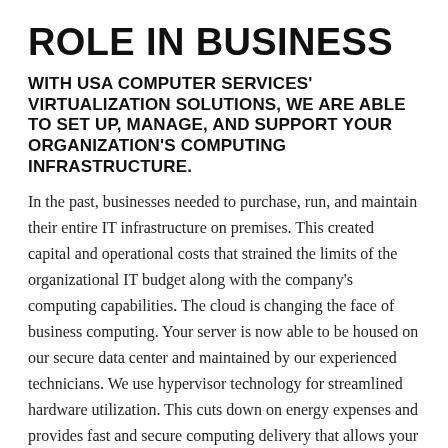ROLE IN BUSINESS
WITH USA COMPUTER SERVICES' VIRTUALIZATION SOLUTIONS, WE ARE ABLE TO SET UP, MANAGE, AND SUPPORT YOUR ORGANIZATION'S COMPUTING INFRASTRUCTURE.
In the past, businesses needed to purchase, run, and maintain their entire IT infrastructure on premises. This created capital and operational costs that strained the limits of the organizational IT budget along with the company's computing capabilities. The cloud is changing the face of business computing. Your server is now able to be housed on our secure data center and maintained by our experienced technicians. We use hypervisor technology for streamlined hardware utilization. This cuts down on energy expenses and provides fast and secure computing delivery that allows your company financial flexibility in regards to their IT...